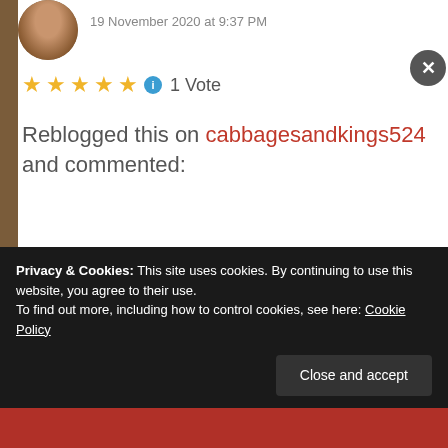19 November 2020 at 9:37 PM
[Figure (illustration): Star rating showing 5 gold stars with a blue info icon and '1 Vote' text]
Reblogged this on cabbagesandkings524 and commented:
Calico Jack – Just sign the paper lady.
Liked by 1 person
REPLY
Privacy & Cookies: This site uses cookies. By continuing to use this website, you agree to their use.
To find out more, including how to control cookies, see here: Cookie Policy
Close and accept